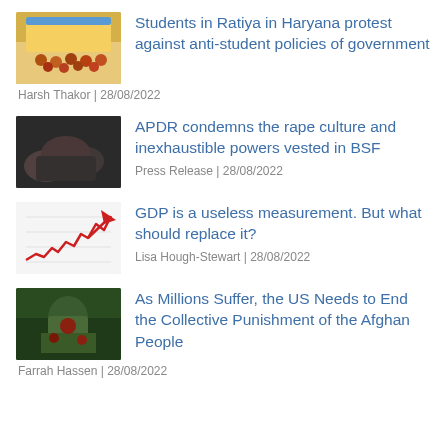[Figure (photo): Students protest photo thumbnail]
Students in Ratiya in Haryana protest against anti-student policies of government
Harsh Thakor | 28/08/2022
[Figure (photo): Hands photo thumbnail, dark tones]
APDR condemns the rape culture and inexhaustible powers vested in BSF
Press Release | 28/08/2022
[Figure (other): GDP chart thumbnail with red arrow trending up]
GDP is a useless measurement. But what should replace it?
Lisa Hough-Stewart | 28/08/2022
[Figure (photo): Afghan people photo thumbnail]
As Millions Suffer, the US Needs to End the Collective Punishment of the Afghan People
Farrah Hassen | 28/08/2022